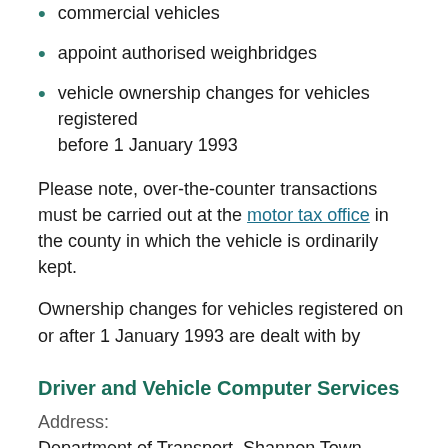commercial vehicles
appoint authorised weighbridges
vehicle ownership changes for vehicles registered before 1 January 1993
Please note, over-the-counter transactions must be carried out at the motor tax office in the county in which the vehicle is ordinarily kept.
Ownership changes for vehicles registered on or after 1 January 1993 are dealt with by
Driver and Vehicle Computer Services
Address:
Department of Transport, Shannon Town Centre, Shannon,